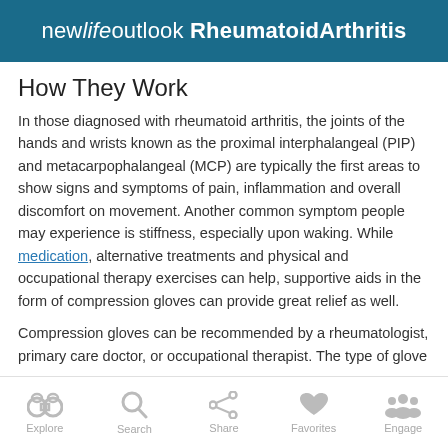new life outlook RheumatoidArthritis
How They Work
In those diagnosed with rheumatoid arthritis, the joints of the hands and wrists known as the proximal interphalangeal (PIP) and metacarpophalangeal (MCP) are typically the first areas to show signs and symptoms of pain, inflammation and overall discomfort on movement. Another common symptom people may experience is stiffness, especially upon waking. While medication, alternative treatments and physical and occupational therapy exercises can help, supportive aids in the form of compression gloves can provide great relief as well.
Compression gloves can be recommended by a rheumatologist, primary care doctor, or occupational therapist. The type of glove
Explore  Search  Share  Favorites  Engage